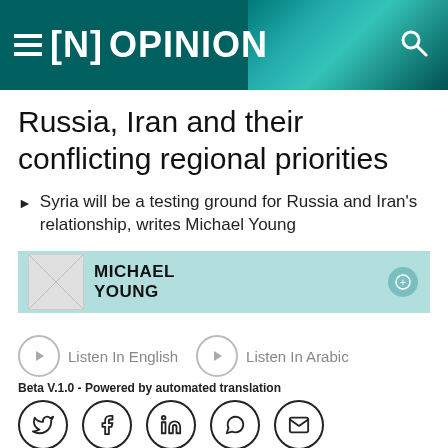[N] OPINION
Russia, Iran and their conflicting regional priorities
▶  Syria will be a testing ground for Russia and Iran's relationship, writes Michael Young
[Figure (other): Author box with photo placeholder for Michael Young, light teal background]
[Figure (other): Audio listen buttons: Listen In English, Listen In Arabic]
Beta V.1.0 - Powered by automated translation
[Figure (other): Social sharing icons: Twitter, Facebook, LinkedIn, WhatsApp, Email]